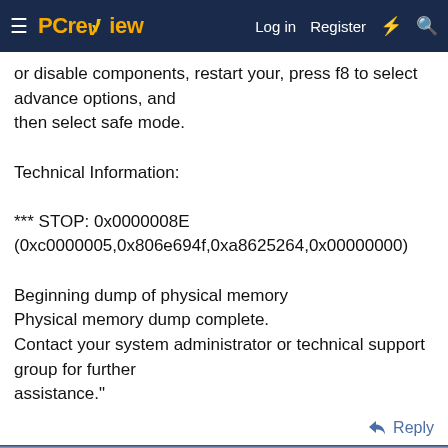PCreview — Log in | Register
or disable components, restart your, press f8 to select advance options, and
then select safe mode.

Technical Information:

*** STOP: 0x0000008E
(0xc0000005,0x806e694f,0xa8625264,0x00000000)

Beginning dump of physical memory
Physical memory dump complete.
Contact your system administrator or technical support group for further
assistance."
Reply
Advertisements